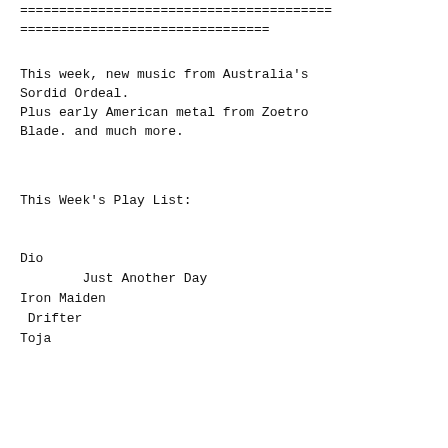========================================
================================
This week, new music from Australia's
Sordid Ordeal.
Plus early American metal from Zoetro
Blade. and much more.
This Week's Play List:
Dio
Just Another Day
Iron Maiden
Drifter
Toja